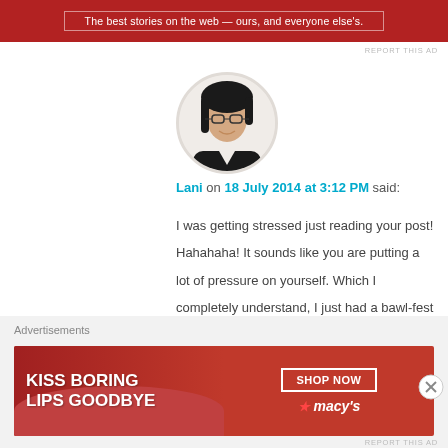[Figure (other): Red banner advertisement at top with text 'The best stories on the web — ours, and everyone else's.']
[Figure (photo): Circular avatar photo of a woman with dark hair and glasses wearing a dark top, light background.]
Lani on 18 July 2014 at 3:12 PM said:
I was getting stressed just reading your post! Hahahaha! It sounds like you are putting a lot of pressure on yourself. Which I completely understand, I just had a bawl-fest yesterday over this student in my class who made my life miserable. I think stress is our fears having a spaz-dance. Meditating and yoga definitely helps. And don't forget music and
[Figure (other): Macy's advertisement banner: 'KISS BORING LIPS GOODBYE' with SHOP NOW button and Macy's star logo on red background.]